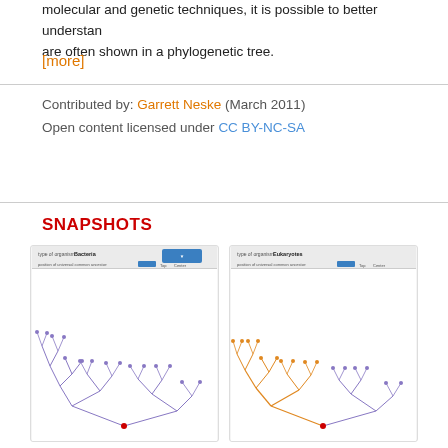molecular and genetic techniques, it is possible to better understand... are often shown in a phylogenetic tree.
[more]
Contributed by: Garrett Neske (March 2011)
Open content licensed under CC BY-NC-SA
SNAPSHOTS
[Figure (screenshot): Screenshot of a phylogenetic tree simulation showing Bacteria type of organism with a branching tree diagram in blue/purple.]
[Figure (screenshot): Screenshot of a phylogenetic tree simulation showing Eukaryotes type of organism with a branching tree diagram in orange/blue.]